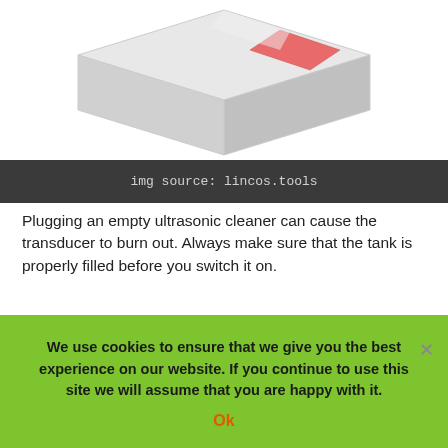[Figure (photo): Partial view of a 3D box/product (ultrasonic cleaner) with pink/red accent on white background, cropped at top]
img source: lincos.tools
Plugging an empty ultrasonic cleaner can cause the transducer to burn out. Always make sure that the tank is properly filled before you switch it on.
Fill it up to the recommended level before switching it on to ensure that you do not cause any damage to the cleaner. It’s an easy mistake to make, especially when you remove the plug but forget to switch off the socket. It could cause damage if
We use cookies to ensure that we give you the best experience on our website. If you continue to use this site we will assume that you are happy with it. Ok